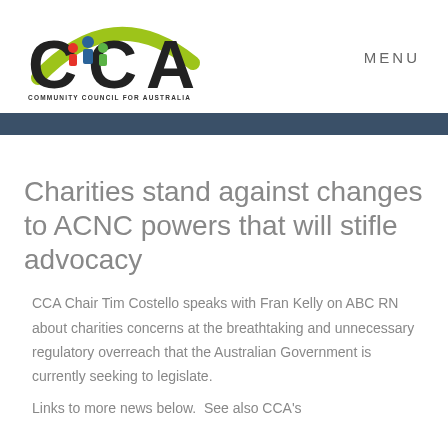[Figure (logo): CCA Community Council for Australia logo with stylized figures and green arc]
MENU
Charities stand against changes to ACNC powers that will stifle advocacy
CCA Chair Tim Costello speaks with Fran Kelly on ABC RN about charities concerns at the breathtaking and unnecessary regulatory overreach that the Australian Government is currently seeking to legislate.
Links to more news below.  See also CCA's